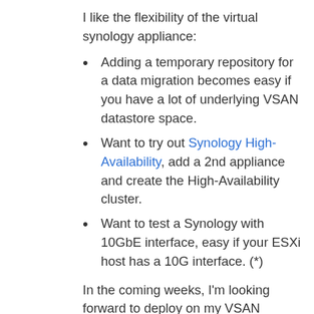I like the flexibility of the virtual synology appliance:
Adding a temporary repository for a data migration becomes easy if you have a lot of underlying VSAN datastore space.
Want to try out Synology High-Availability, add a 2nd appliance and create the High-Availability cluster.
Want to test a Synology with 10GbE interface, easy if your ESXi host has a 10G interface. (*)
In the coming weeks, I'm looking forward to deploy on my VSAN datastore another storage appliances that can scale out in this distributed storage architecture.